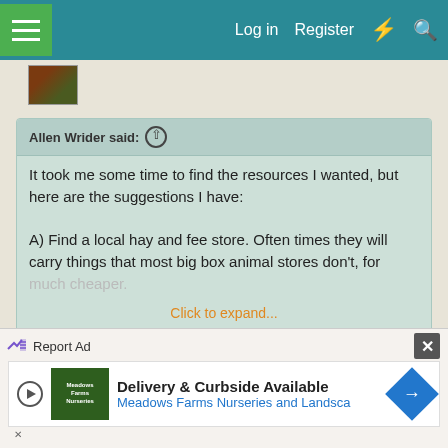Log in  Register
Allen Wrider said: ↑
It took me some time to find the resources I wanted, but here are the suggestions I have:

A) Find a local hay and fee store. Often times they will carry things that most big box animal stores don't, for much cheaper.

Click to expand...
I will avoid Goodwill, but the only local stores are Tractor Supply and R&J Feed and they don't carry any wicker baskets. I live hours away from HRS so I don't think that would be an option either. Thanks though!
Report Ad
Delivery & Curbside Available
Meadows Farms Nurseries and Landsca